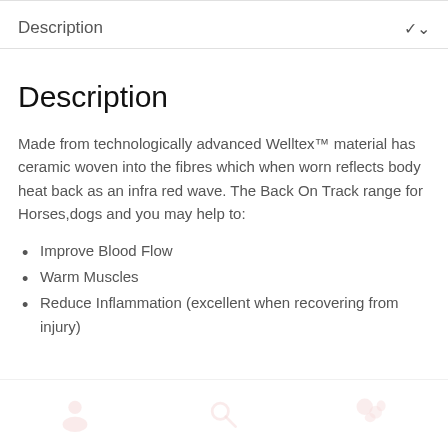Description
Description
Made from technologically advanced Welltex™ material has ceramic woven into the fibres which when worn reflects body heat back as an infra red wave. The Back On Track range for Horses,dogs and you may help to:
Improve Blood Flow
Warm Muscles
Reduce Inflammation (excellent when recovering from injury)